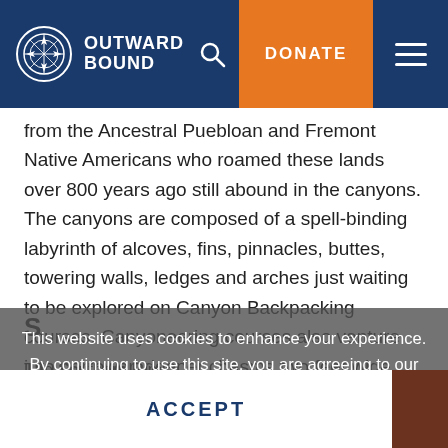OUTWARD BOUND
from the Ancestral Puebloan and Fremont Native Americans who roamed these lands over 800 years ago still abound in the canyons. The canyons are composed of a spell-binding labyrinth of alcoves, fins, pinnacles, buttes, towering walls, ledges and arches just waiting to be explored on Canyon Backpacking courses. Canyoneering courses also venture into narrower, deeper chasms two feet wide with walls several hundred feet on each side. These sandstone slot canyons are a geological playground for scrambling, teamwork and rappelling. These regions are within the ancestral lands of the Nuu-agha-tüvü-pü (Ute), Southern Paiute, and Pueblo nations.
This website uses cookies to enhance your experience. By continuing to use this site, you are agreeing to our use of cookies. Please visit our Privacy Policy to learn more.
ACCEPT
S
The Southern Rim...